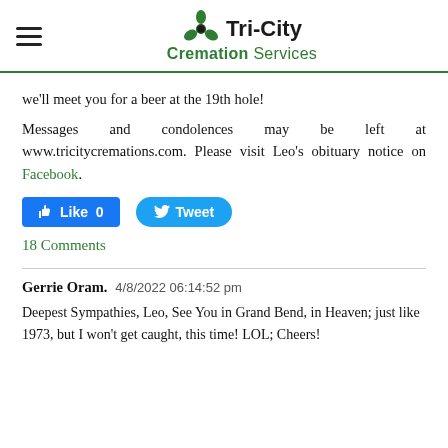Tri-City Cremation Services
we'll meet you for a beer at the 19th hole!
Messages and condolences may be left at www.tricitycremations.com. Please visit Leo's obituary notice on Facebook.
[Figure (other): Facebook Like button showing 0 likes and Twitter Tweet button]
18 Comments
Gerrie Oram.   4/8/2022 06:14:52 pm
Deepest Sympathies, Leo, See You in Grand Bend, in Heaven; just like 1973, but I won't get caught, this time! LOL; Cheers!